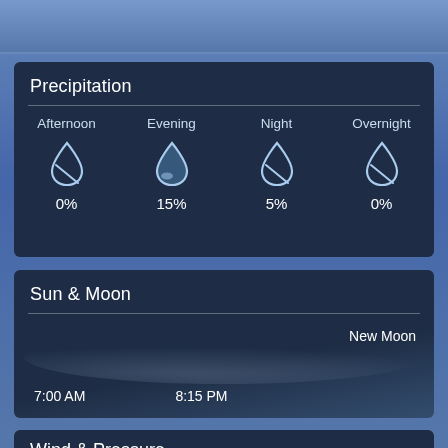Precipitation
| Afternoon | Evening | Night | Overnight |
| --- | --- | --- | --- |
| 0% | 15% | 5% | 0% |
Sun & Moon
New Moon
7:00 AM
8:15 PM
Wind & Pressure